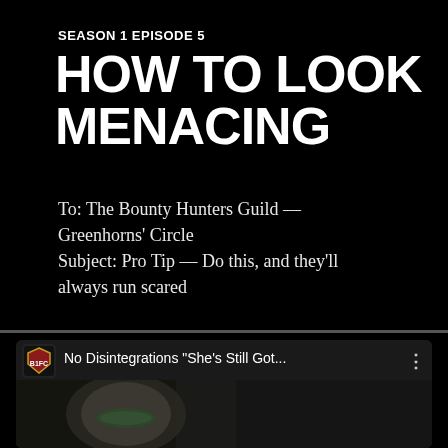SEASON 1 EPISODE 5
HOW TO LOOK MENACING
To: The Bounty Hunters Guild — Greenhorns' Circle
Subject: Pro Tip — Do this, and they'll always run scared
[Figure (screenshot): YouTube video thumbnail showing channel icon for 'No Disintegrations' with video title 'No Disintegrations "She's Still Got...' and a three-dot menu icon, with a partial thumbnail showing a Boba Fett helmet.]